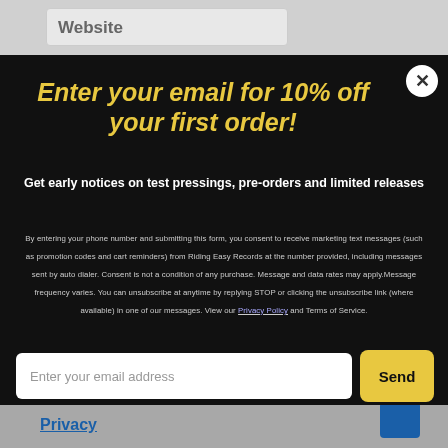Website
Enter your email for 10% off your first order!
Get early notices on test pressings, pre-orders and limited releases
By entering your phone number and submitting this form, you consent to receive marketing text messages (such as promotion codes and cart reminders) from Riding Easy Records at the number provided, including messages sent by auto dialer. Consent is not a condition of any purchase. Message and data rates may apply. Message frequency varies. You can unsubscribe at anytime by replying STOP or clicking the unsubscribe link (where available) in one of our messages. View our Privacy Policy and Terms of Service.
Enter your email address
Privacy